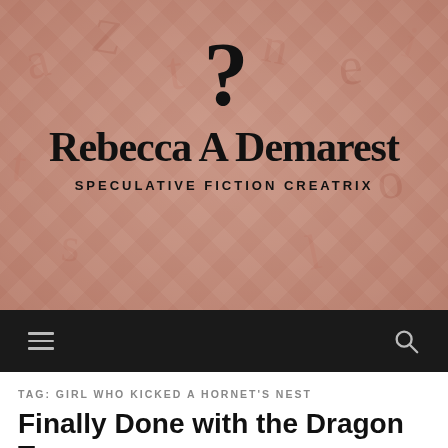[Figure (logo): Website header banner with blurred letter tiles background in pink/salmon tones. Contains a stylized punctuation mark logo (D with exclamation point), the site title 'Rebecca A Demarest', and subtitle 'SPECULATIVE FICTION CREATRIX'.]
Rebecca A Demarest
SPECULATIVE FICTION CREATRIX
TAG: GIRL WHO KICKED A HORNET'S NEST
Finally Done with the Dragon Tattoo